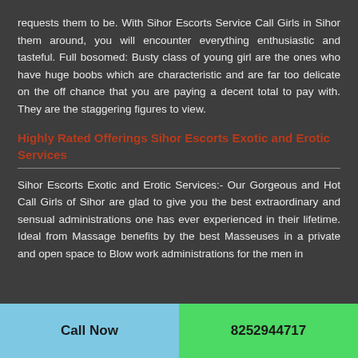requests them to be. With Sihor Escorts Service Call Girls in Sihor them around, you will encounter everything enthusiastic and tasteful. Full bosomed: Busty class of young girl are the ones who have huge boobs which are characteristic and are far too delicate on the off chance that you are paying a decent total to pay with. They are the staggering figures to view.
Highly Rated Offerings Sihor Escorts Exotic and Erotic Services
Sihor Escorts Exotic and Erotic Services:- Our Gorgeous and Hot Call Girls of Sihor are glad to give you the best extraordinary and sensual administrations one has ever experienced in their lifetime. Ideal from Massage benefits by the best Masseuses in a private and open space to Blow work administrations for the men in
Call Now   8252944717